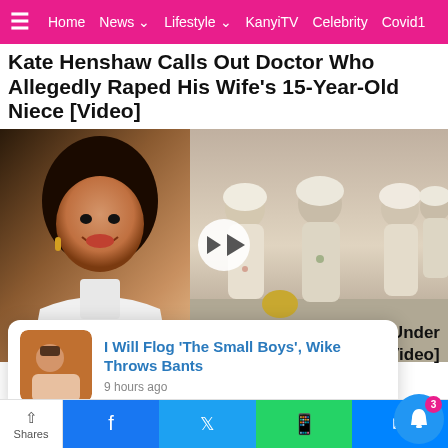Home | News | Lifestyle | KanyiTV | Celebrity | Covid1
Kate Henshaw Calls Out Doctor Who Allegedly Raped His Wife's 15-Year-Old Niece [Video]
[Figure (photo): Left: portrait of Kate Henshaw smiling in white outfit. Right: video still of people in white traditional attire, with a play button overlay. Label: ENTERTAINMENT.]
I Will Flog 'The Small Boys', Wike Throws Bants
9 hours ago
ell Under n [Video]